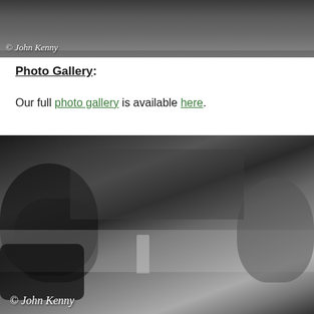[Figure (photo): Black and white photograph of people at an event, with '© John Kenny' watermark in bottom-left corner. Shows people in suits interacting.]
Photo Gallery:
Our full photo gallery is available here.
[Figure (photo): Black and white photograph showing two men in conversation at a table, surrounded by press and cameras. One older man on the left faces a younger man on the right. A bottle and glasses sit on the table. '© John Kenny' watermark in bottom-left corner.]